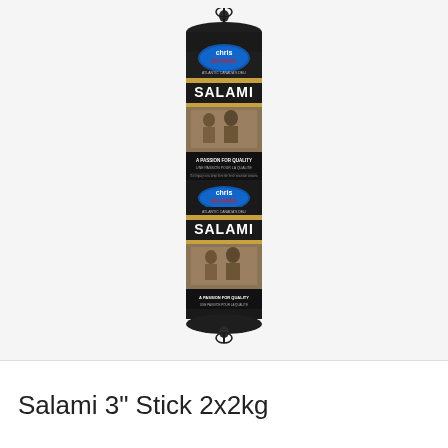[Figure (photo): A Chris Brothers Salami 3-inch stick product shown vertically. The packaging is dark/black with the Chris Brothers logo in an oval at the top, the word SALAMI in large white text, a vintage sepia-toned photo of people, and text reading 'A Passion for Quality / Une Passion Pour La Qualite'. The stick appears to have two label sections visible, both showing the same branding. The ends of the stick are tied with black twine.]
Salami 3" Stick 2x2kg